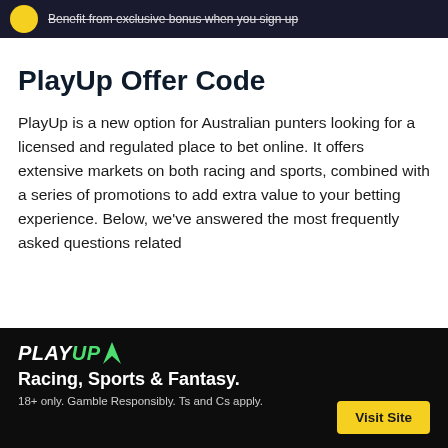Benefit from exclusive bonus when you sign up
PlayUp Offer Code
PlayUp is a new option for Australian punters looking for a licensed and regulated place to bet online. It offers extensive markets on both racing and sports, combined with a series of promotions to add extra value to your betting experience. Below, we've answered the most frequently asked questions related
[Figure (logo): PlayUp logo with green arrow icon]
Racing, Sports & Fantasy.
18+ only. Gamble Responsibly. Ts and Cs apply.
Visit Site